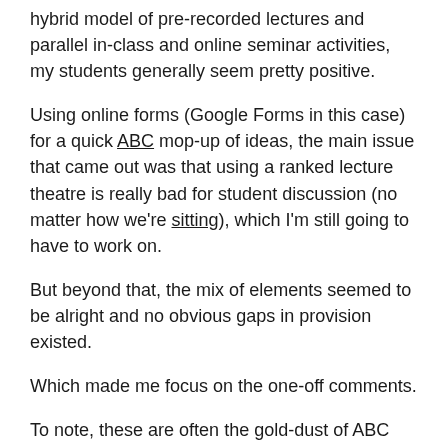hybrid model of pre-recorded lectures and parallel in-class and online seminar activities, my students generally seem pretty positive.
Using online forms (Google Forms in this case) for a quick ABC mop-up of ideas, the main issue that came out was that using a ranked lecture theatre is really bad for student discussion (no matter how we're sitting), which I'm still going to have to work on.
But beyond that, the mix of elements seemed to be alright and no obvious gaps in provision existed.
Which made me focus on the one-off comments.
To note, these are often the gold-dust of ABC reviews: the asides that open up some really big steps forward, by giving a different perspective. It's also precisely why you should...